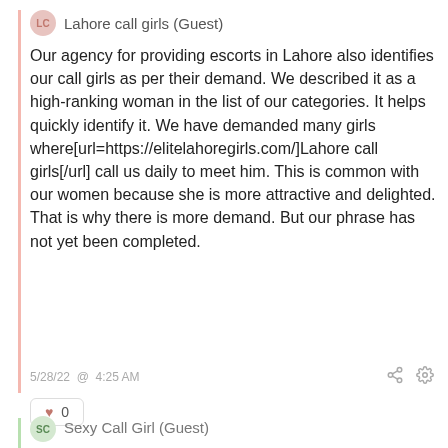Lahore call girls (Guest)
Our agency for providing escorts in Lahore also identifies our call girls as per their demand. We described it as a high-ranking woman in the list of our categories. It helps quickly identify it. We have demanded many girls where[url=https://elitelahoregirls.com/]Lahore call girls[/url] call us daily to meet him. This is common with our women because she is more attractive and delighted. That is why there is more demand. But our phrase has not yet been completed.
5/28/22 @ 4:25 AM
0
Sexy Call Girl (Guest)